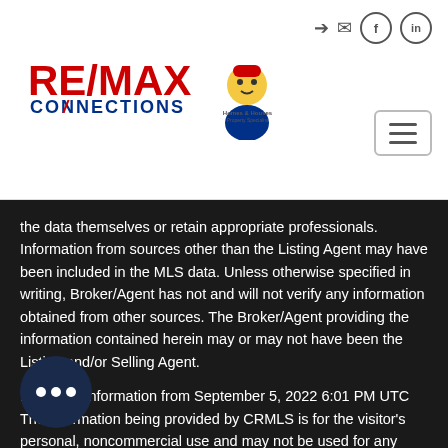[Figure (logo): RE/MAX Connections logo with red and blue text, and an agent mascot logo beside it]
the data themselves or retain appropriate professionals. Information from sources other than the Listing Agent may have been included in the MLS data. Unless otherwise specified in writing, Broker/Agent has not and will not verify any information obtained from other sources. The Broker/Agent providing the information contained herein may or may not have been the Listing and/or Selling Agent.
Based on information from September 5, 2022 6:01 PM UTC The information being provided by CRMLS is for the visitor's personal, noncommercial use and may not be used for any purpose other than to identify prospective properties visitor may be interested in purchasing. The data contained herein is copyrighted by CRMLS, SoCalMLS, TheMLS, PSRMLS, SanDicegoMLS, JCBBS, and is protected by all applicable copyright laws.